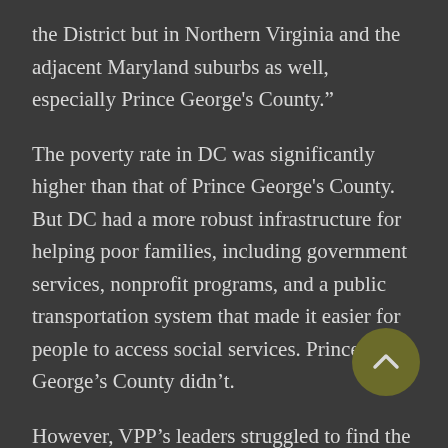the District but in Northern Virginia and the adjacent Maryland suburbs as well, especially Prince George's County."
The poverty rate in DC was significantly higher than that of Prince George's County. But DC had a more robust infrastructure for helping poor families, including government services, nonprofit programs, and a public transportation system that made it easier for people to access social services. Prince George's County didn't.
However, VPP's leaders struggled to find the right way to engage. Prince George's County, never concentrated poverty, just didn't have many